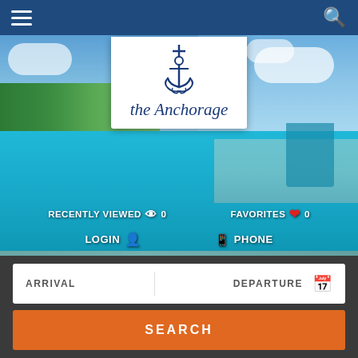[Figure (screenshot): Mobile hotel booking app header with hamburger menu on left and search icon on right, blue background]
[Figure (photo): Hero background showing tropical resort pool area with palm trees, blue sky, and beach with lounge chairs]
[Figure (logo): The Anchorage hotel logo - anchor icon with cursive text 'the Anchorage' on white card]
RECENTLY VIEWED  0
FAVORITES  0
LOGIN
PHONE
ARRIVAL
DEPARTURE
SEARCH